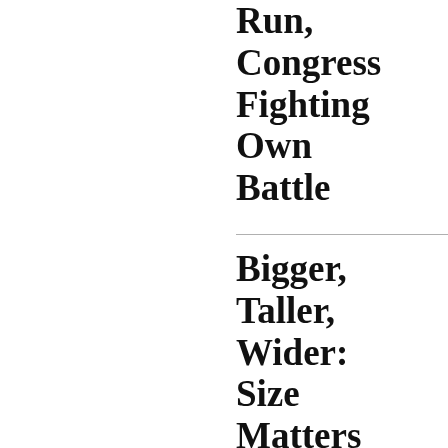Run, Congress Fighting Own Battle
Bigger, Taller, Wider: Size Matters When It Comes To Statues
“A Politician Is Part Visual, Part Rhetoric